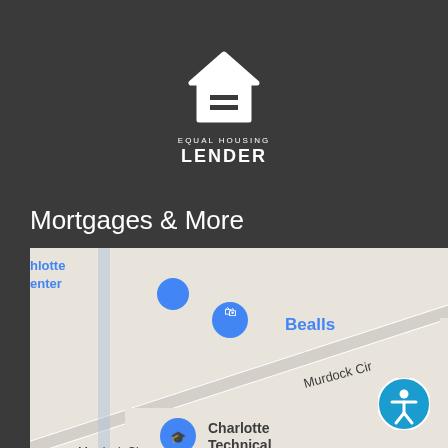[Figure (logo): Equal Housing Lender logo — white house icon with equals sign, text 'EQUAL HOUSING LENDER']
Mortgages & More
[Figure (map): Google Maps screenshot showing area around Charlotte Technical College, Charlotte County Vehicle Registration, United States Postal Service, Bealls, Murdock Cir, Cochran Blvd, Barbara Ave, Hyatt Dr, Cannolot, Midnight St, Leisure St, Tinker St, Carpenter, Pellar, US Route 41]
[Figure (other): Accessibility icon — blue circle with white person/wheelchair accessibility symbol]